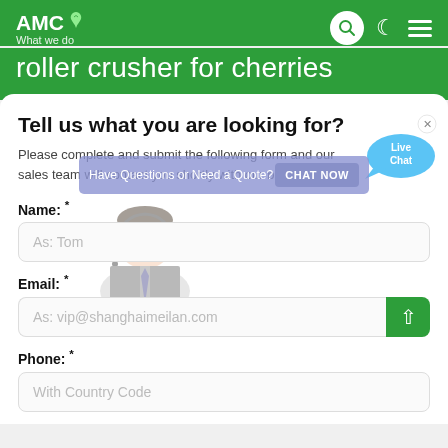AMC — What we do
roller crusher for cherries
Tell us what you are looking for?
Please complete and submit the following form and our sales team will contact you shortly with our best prices.
Name: *
As: Tom
Email: *
As: vip@shanghaimeilan.com
Phone: *
With Country Code